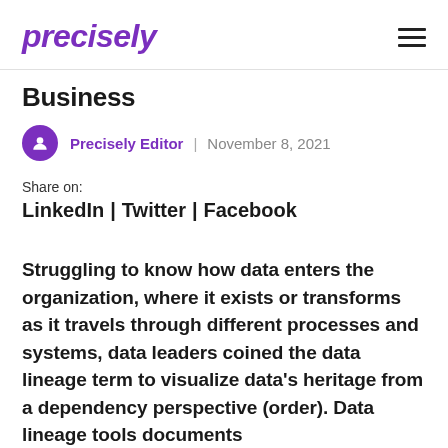precisely
Business
Precisely Editor | November 8, 2021
Share on:
LinkedIn | Twitter | Facebook
Struggling to know how data enters the organization, where it exists or transforms as it travels through different processes and systems, data leaders coined the data lineage term to visualize data's heritage from a dependency perspective (order). Data lineage tools documents